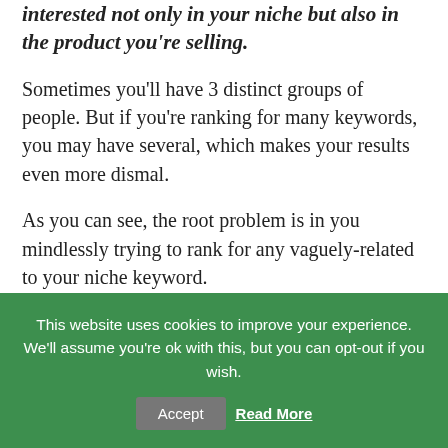This search might target many people interested not only in your niche but also in the product you're selling.
Sometimes you'll have 3 distinct groups of people. But if you're ranking for many keywords, you may have several, which makes your results even more dismal.
As you can see, the root problem is in you mindlessly trying to rank for any vaguely-related to your niche keyword.
This website uses cookies to improve your experience. We'll assume you're ok with this, but you can opt-out if you wish. Accept Read More